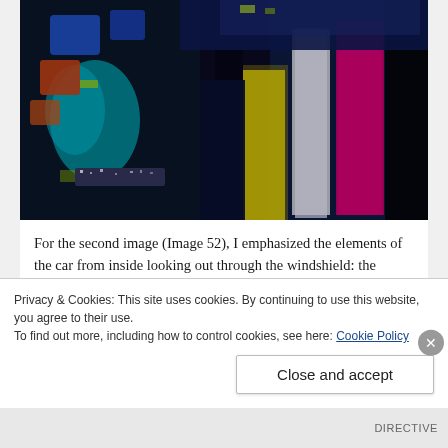[Figure (illustration): An abstract painting with dark blue, black, teal, yellow, magenta/pink, and white brush strokes. Elements suggest a car interior view looking out through a windshield with abstract forms: steering wheel shapes, yellow and white vertical bands, a magenta/pink vertical stripe on right, teal and orange figures on left, all on a very dark almost black background.]
For the second image (Image 52), I emphasized the elements of the car from inside looking out through the windshield: the steering wheel, the mugger in headlights, the yellow flower, and the red sign. Same elements, different look. Perhaps in that moment of clarity that leads to the conclusion of the
Privacy & Cookies: This site uses cookies. By continuing to use this website, you agree to their use.
To find out more, including how to control cookies, see here: Cookie Policy
Close and accept